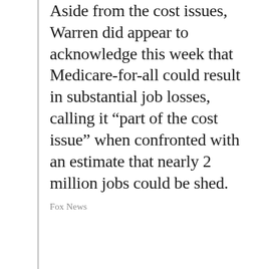Aside from the cost issues, Warren did appear to acknowledge this week that Medicare-for-all could result in substantial job losses, calling it “part of the cost issue” when confronted with an estimate that nearly 2 million jobs could be shed.
Fox News
However, despite Warren’s claims of no new taxes on the middle class, a new study by a nonpartisan budgetary watchdog group, Committee for a Responsible Federal Budget, says that plan is impossible. The group ran several scenarios with different means of paying the hefty bill by solely taxing the rich to no